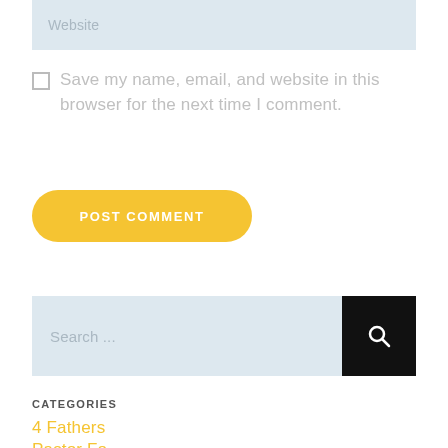Website
Save my name, email, and website in this browser for the next time I comment.
POST COMMENT
Search ...
CATEGORIES
4 Fathers
Pastor Fo...